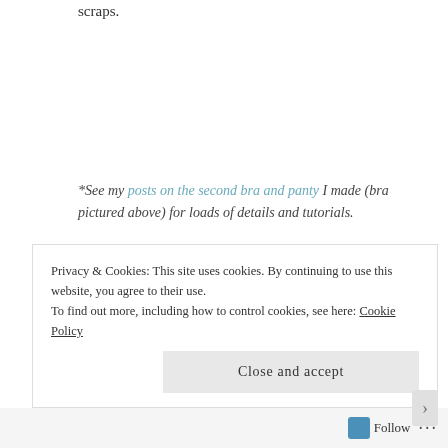scraps.
*See my posts on the second bra and panty I made (bra pictured above) for loads of details and tutorials.
The blatant self-promotional part: Want to see my own DIY lingerie sewing kits? I design and produce
Privacy & Cookies: This site uses cookies. By continuing to use this website, you agree to their use. To find out more, including how to control cookies, see here: Cookie Policy
Close and accept
Follow ...